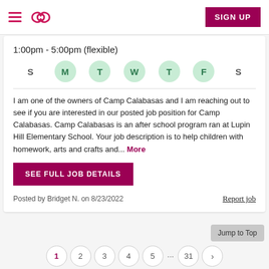Sittercity — SIGN UP
1:00pm - 5:00pm (flexible)
[Figure (infographic): Days of the week selector showing S M T W T F S, with M, T, W, T, F highlighted in green circles indicating selected days]
I am one of the owners of Camp Calabasas and I am reaching out to see if you are interested in our posted job position for Camp Calabasas. Camp Calabasas is an after school program ran at Lupin Hill Elementary School. Your job description is to help children with homework, arts and crafts and... More
SEE FULL JOB DETAILS
Posted by Bridget N. on 8/23/2022
Report job
Jump to Top
1  2  3  4  5  ...  31  >